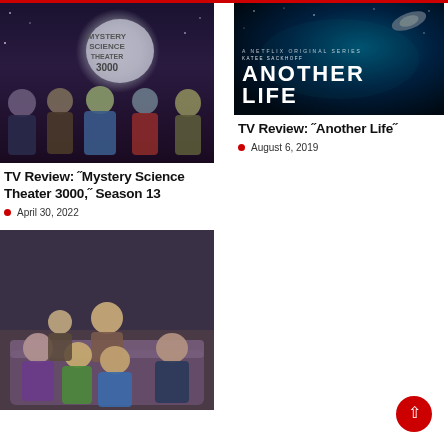[Figure (photo): Mystery Science Theater 3000 group cast photo with moon prop and space background]
TV Review: “Mystery Science Theater 3000,” Season 13
April 30, 2022
[Figure (photo): Another Life Netflix Original Series poster with space background and large text]
TV Review: “Another Life”
August 6, 2019
[Figure (photo): Group of people sitting on a couch looking surprised or scared, watching something]